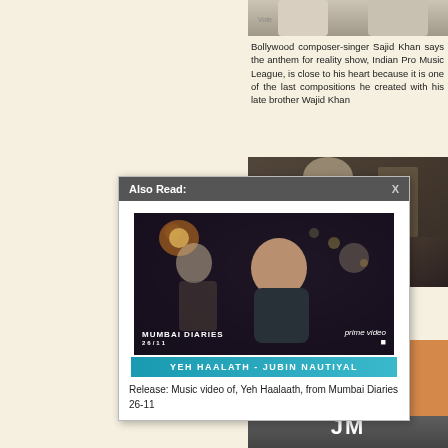[Figure (photo): Partial photo of a person at the top right of the page]
Bollywood composer-singer Sajid Khan says the anthem for reality show, Indian Pro Music League, is close to his heart because it is one of the last compositions he created with his late brother Wajid Khan
[Figure (photo): Partial photo in bottom right area showing people in a scene]
[Figure (screenshot): Also Read popup overlay containing Mumbai Diaries 26/11 music video thumbnail for Yeh Haalath by Jubin Nautiyal on Prime Video, with caption: Release: Music video of, Yeh Haalaath, from Mumbai Diaries 26-11]
Release: Music video of, Yeh Haalaath, from Mumbai Diaries 26-11
[Figure (logo): JM logo in white text on dark grey background at bottom right]